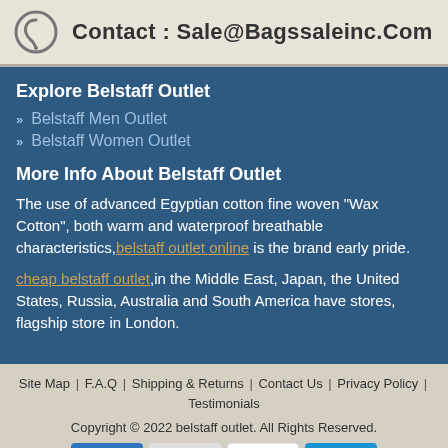Contact : Sale@Bagssaleinc.Com
Explore Belstaff Outlet
Belstaff Men Outlet
Belstaff Women Outlet
More Info About Belstaff Outlet
The use of advanced Egyptian cotton fine woven "Wax Cotton", both warm and waterproof breathable characteristics, belstaff outlet online is the brand early pride.
cheap belstaff outlet, in the Middle East, Japan, the United States, Russia, Australia and South America have stores, flagship store in London.
Site Map | F.A.Q | Shipping & Returns | Contact Us | Privacy Policy | Testimonials
Copyright © 2022 belstaff outlet. All Rights Reserved.